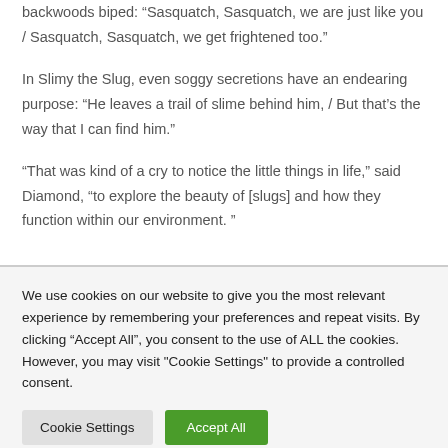backwoods biped: “Sasquatch, Sasquatch, we are just like you / Sasquatch, Sasquatch, we get frightened too.”
In Slimy the Slug, even soggy secretions have an endearing purpose: “He leaves a trail of slime behind him, / But that’s the way that I can find him.”
“That was kind of a cry to notice the little things in life,” said Diamond, “to explore the beauty of [slugs] and how they function within our environment. ”
We use cookies on our website to give you the most relevant experience by remembering your preferences and repeat visits. By clicking “Accept All”, you consent to the use of ALL the cookies. However, you may visit "Cookie Settings" to provide a controlled consent.